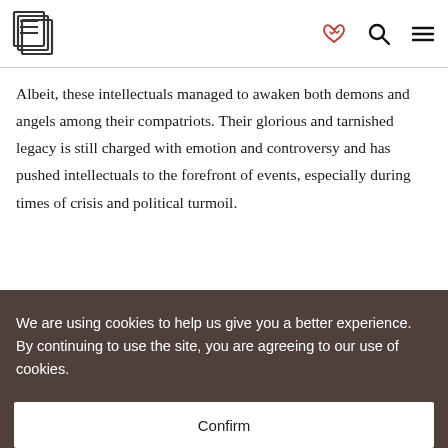E [logo] [heart-handshake icon] [search icon] [menu icon]
Albeit, these intellectuals managed to awaken both demons and angels among their compatriots. Their glorious and tarnished legacy is still charged with emotion and controversy and has pushed intellectuals to the forefront of events, especially during times of crisis and political turmoil.
We are using cookies to help us give you a better experience. By continuing to use the site, you are agreeing to our use of cookies.
Confirm